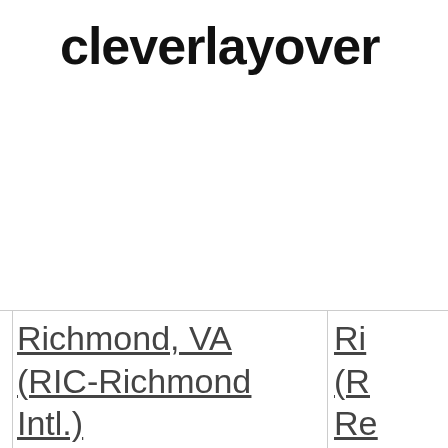cleverlayover
| Richmond, VA (RIC-Richmond Intl.) | Ri... (R... Re... |
| Flights to Riga, Latvia (RIX-Riga Central) | Fli... Lo... (R... |